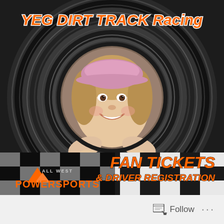[Figure (photo): Promotional image for YEG Dirt Track Racing. A young girl wearing a pink baseball cap smiles while peeking through the hole of a large tire. A checkered racing flag is visible in the lower portion. The All West Powersports logo appears bottom-left. Orange italic text at top reads 'YEG DIRT TRACK Racing' and bottom right reads 'FAN TICKETS & DRIVER REGISTRATION'.]
Follow
...